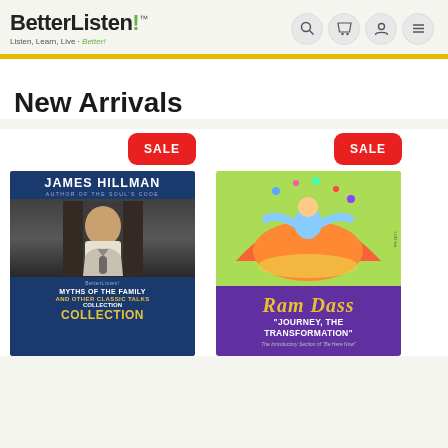BetterListen! Listen, Learn, Live · Better!
New Arrivals
[Figure (illustration): Book cover: James Hillman – Myths of the Family and Other Classic Talks Collection, with SALE badge]
[Figure (illustration): Book cover: Ram Dass – Journey, The Transformation (The Introductory Section of 'Be Here Now'), with SALE badge]